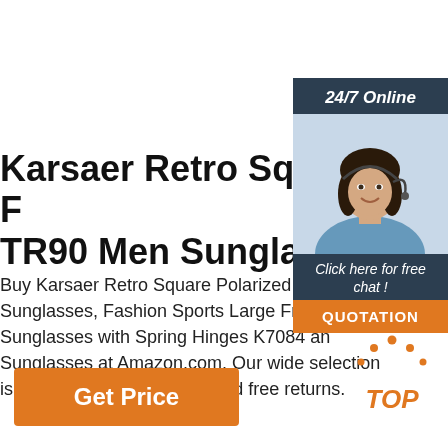Karsaer Retro Square F TR90 Men Sunglasses
Buy Karsaer Retro Square Polarized TR9 Sunglasses, Fashion Sports Large Frame Sunglasses with Spring Hinges K7084 an Sunglasses at Amazon.com. Our wide selection is eligible for free shipping and free returns.
[Figure (photo): Customer service representative woman with headset, with '24/7 Online' header, 'Click here for free chat!' text, and 'QUOTATION' orange button]
[Figure (logo): TOP logo with orange dotted arch above the word TOP in orange italic text]
Get Price